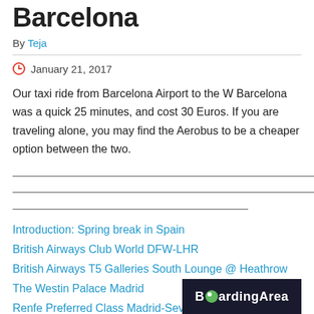Barcelona
By Teja
January 21, 2017
Our taxi ride from Barcelona Airport to the W Barcelona was a quick 25 minutes, and cost 30 Euros. If you are traveling alone, you may find the Aerobus to be a cheaper option between the two.
——————————————————————————————————————————————————
——————————————————————————————————————————————————
————————————————
Introduction: Spring break in Spain
British Airways Club World DFW-LHR
British Airways T5 Galleries South Lounge @ Heathrow
The Westin Palace Madrid
Renfe Preferred Class Madrid-Seville
[Figure (logo): BoardingArea logo — dark background with green dot in the letter O]